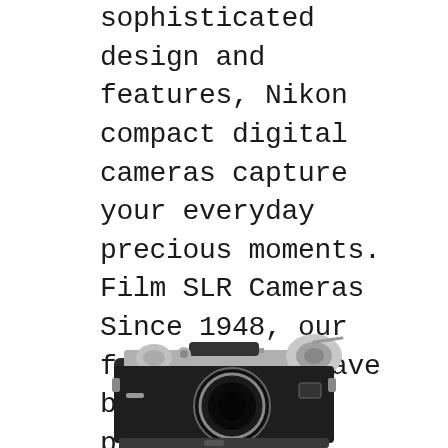sophisticated design and features, Nikon compact digital cameras capture your everyday precious moments. Film SLR Cameras Since 1948, our film cameras have been loved by photographers around the globe., Features a quick reference pictorial history of Nikon camera models, from Rangefinders, SLR to compact and underwater models, supplemented by selected lenses of Nikkors. Photography in Malaysia: Malaysians photographers' online portfolios, Resourceful photographic tips & tricks.
[Figure (photo): Bottom portion of a vintage Nikon film SLR camera showing the top plate with dials and controls, in black and chrome.]